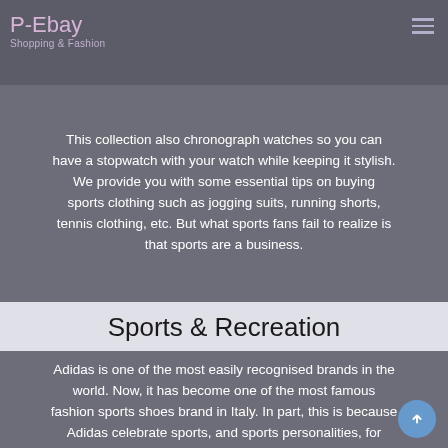P-Ebay | Shopping & Fashion
extended their vision, they wished to create sportswear that was fashionable and appealed to a much broader audience.
This collection also chronograph watches so you can have a stopwatch with your watch while keeping it stylish. We provide you with some essential tips on buying sports clothing such as jogging suits, running shorts, tennis clothing, etc. But what sports fans fail to realize is that sports are a business.
Sports & Recreation
Adidas is one of the most easily recognised brands in the world. Now, it has become one of the most famous fashion sports shoes brand in Italy. In part, this is because Adidas celebrate sports, and sports personalities, for instance, they pay tribute to favourite sportspeople by